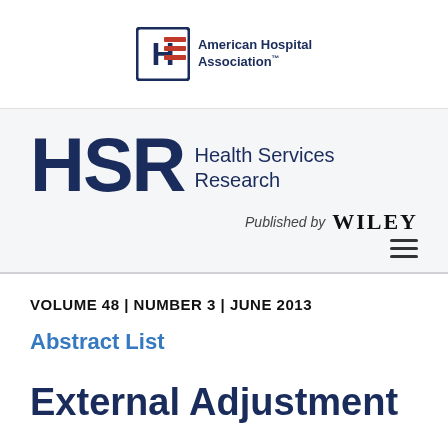[Figure (logo): American Hospital Association logo with H icon and flag stripes, followed by text 'American Hospital Association']
[Figure (logo): HSR Health Services Research journal logo in dark navy, with 'Published by WILEY' text and hamburger menu icon]
VOLUME 48 | NUMBER 3 | JUNE 2013
Abstract List
External Adjustment